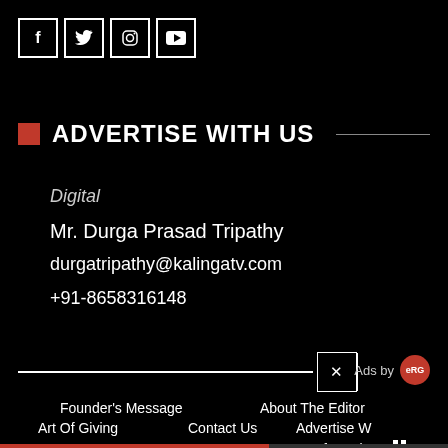[Figure (other): Social media icon buttons for Facebook, Twitter, Instagram, YouTube]
ADVERTISE WITH US
Digital
Mr. Durga Prasad Tripathy
durgatripathy@kalingatv.com
+91-8658316148
[Figure (other): Ad close bar with X button and Ads by logo badge]
Founder's Message
About The Editor
Art Of Giving
Contact Us
Advertise W
Terms Of Service
[Figure (other): Pause button icon]